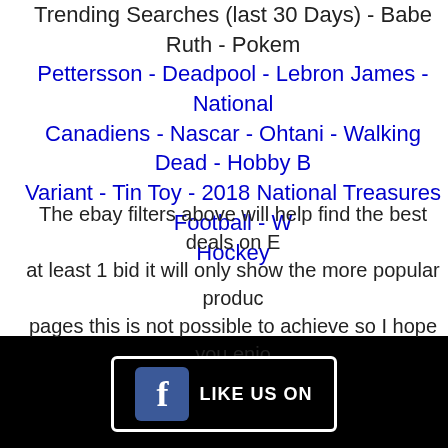Trending Searches (last 30 Days) - Babe Ruth - Pokemon - Pettersson - Deadpool - Lebron James - National Canadiens - Nascar - Ohtani - Walking Dead - Hobby Box Variant - Tin Toy - 2018 National Treasures Football - W Hockey
The ebay filters above will help find the best deals on E at least 1 bid it will only show the more popular products pages this is not possible to achieve so I hope you enjoy advantage.
[Figure (logo): Facebook Like Us On banner with Facebook icon and 'LIKE US ON' text on black background]